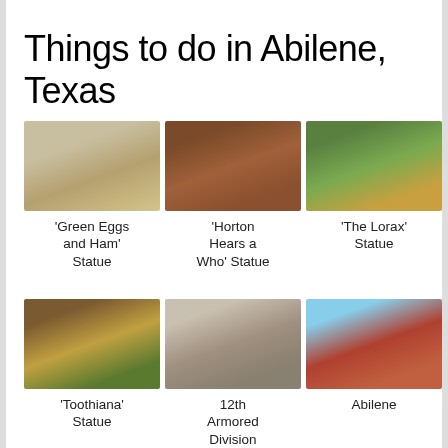Things to do in Abilene, Texas
[Figure (photo): 'Green Eggs and Ham' Statue - outdoor sculpture with Dr. Seuss characters]
'Green Eggs and Ham' Statue
[Figure (photo): 'Horton Hears a Who' Statue - bronze elephant sculpture]
'Horton Hears a Who' Statue
[Figure (photo): 'The Lorax' Statue - green sculpture outdoors]
'The Lorax' Statue
[Figure (photo): 'Toothiana' Statue - colorful outdoor sculpture]
'Toothiana' Statue
[Figure (photo): 12th Armored Division Memorial - interior museum view]
12th Armored Division Memorial
[Figure (photo): Abilene - brick building exterior downtown]
Abilene